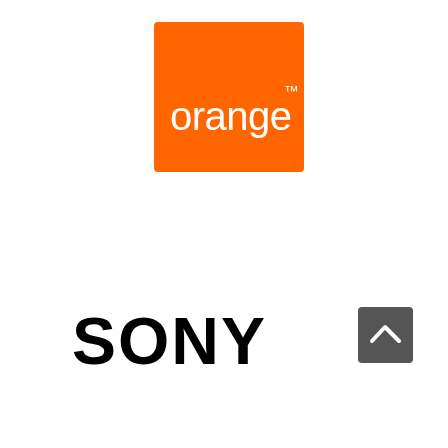[Figure (logo): Orange telecom logo: orange square background with white lowercase text 'orange' and superscript TM symbol]
[Figure (logo): SONY logo in bold black uppercase letters]
[Figure (other): Small dark grey square button with white upward-pointing chevron arrow]